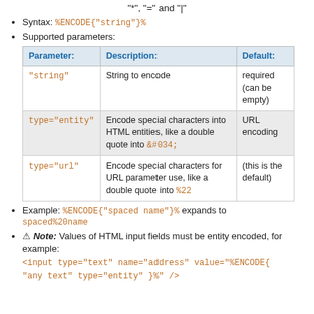"*", "=" and "|"
Syntax: %ENCODE{"string"}%
Supported parameters:
| Parameter: | Description: | Default: |
| --- | --- | --- |
| "string" | String to encode | required
(can be
empty) |
| type="entity" | Encode special characters into HTML entities, like a double quote into &#034; | URL
encoding |
| type="url" | Encode special characters for URL parameter use, like a double quote into %22 | (this is the
default) |
Example: %ENCODE{"spaced name"}% expands to spaced%20name
⚠ Note: Values of HTML input fields must be entity encoded, for example: <input type="text" name="address" value="%ENCODE{ "any text" type="entity" }%" />